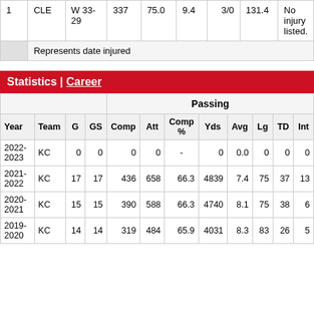|  |  | W 33-29 | 337 | 75.0 | 9.4 | 3/0 | 131.4 | No injury listed. |
| --- | --- | --- | --- | --- | --- | --- | --- | --- |
| 1 | CLE | W 33-29 | 337 | 75.0 | 9.4 | 3/0 | 131.4 | No injury listed. |
Represents date injured
Statistics | Career
| Year | Team | G | GS | Comp | Att | Comp % | Yds | Avg | Lg | TD | Int |
| --- | --- | --- | --- | --- | --- | --- | --- | --- | --- | --- | --- |
| 2022-2023 | KC | 0 | 0 | 0 | 0 | - | 0 | 0.0 | 0 | 0 | 0 |
| 2021-2022 | KC | 17 | 17 | 436 | 658 | 66.3 | 4839 | 7.4 | 75 | 37 | 13 |
| 2020-2021 | KC | 15 | 15 | 390 | 588 | 66.3 | 4740 | 8.1 | 75 | 38 | 6 |
| 2019-2020 | KC | 14 | 14 | 319 | 484 | 65.9 | 4031 | 8.3 | 83 | 26 | 5 |